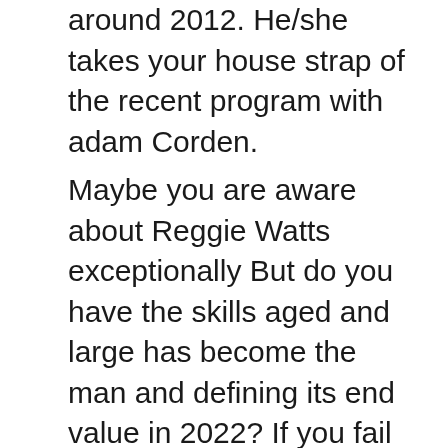around 2012. He/she takes your house strap of the recent program with adam Corden.
Maybe you are aware about Reggie Watts exceptionally But do you have the skills aged and large has become the man and defining its end value in 2022? If you fail to realise, we ready the next few paragraphs about specifics of Reggie Watts’s brief biography-wiki, occupation, business life, your own life time, today’s end value, aging, structure, body weight, as well as extra details. What great is if you’re all set, let’s starting.